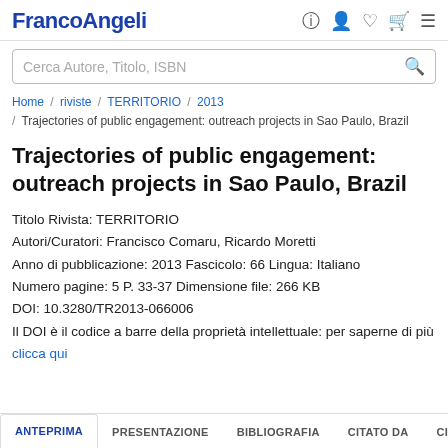FrancoAngeli
Cerca Autore, Titolo, ISBN
Home / riviste / TERRITORIO / 2013 / Trajectories of public engagement: outreach projects in Sao Paulo, Brazil
Trajectories of public engagement: outreach projects in Sao Paulo, Brazil
Titolo Rivista: TERRITORIO
Autori/Curatori: Francisco Comaru, Ricardo Moretti
Anno di pubblicazione: 2013 Fascicolo: 66 Lingua: Italiano
Numero pagine: 5 P. 33-37 Dimensione file: 266 KB
DOI: 10.3280/TR2013-066006
Il DOI è il codice a barre della proprietà intellettuale: per saperne di più
clicca qui
ANTEPRIMA  PRESENTAZIONE  BIBLIOGRAFIA  CITATO DA  CITAMI